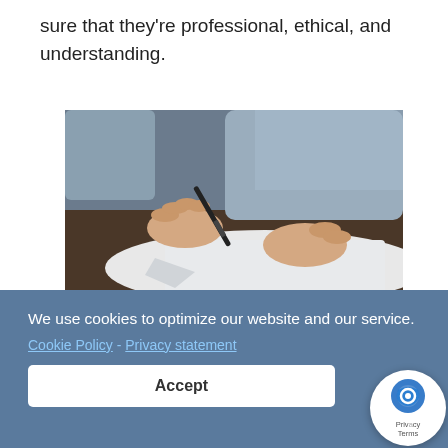sure that they're professional, ethical, and understanding.
[Figure (photo): A person's hands writing on paper with a pen, sitting at a desk. The person is wearing a light blue shirt.]
We use cookies to optimize our website and our service.
Cookie Policy - Privacy statement
Accept
nd that it ultimately leads to lower costs,